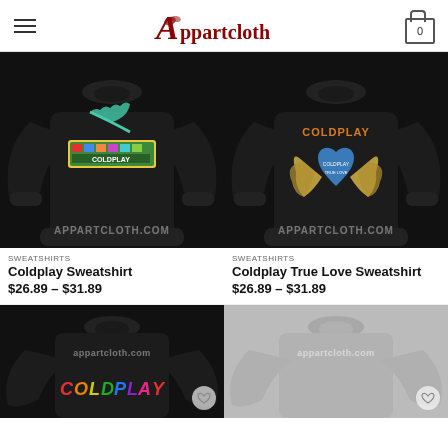Appartcloth
[Figure (photo): Black Coldplay sweatshirt with colorful graphic logo and teal feather design on chest, watermarked APPARTCLOTH.COM]
[Figure (photo): Black Coldplay True Love sweatshirt with heart-shaped wings graphic in gold/blue, COLDPLAY text in orange at top, watermarked APPARTCLOTH.COM]
SWEATSHIRTS
Coldplay Sweatshirt
$26.89 – $31.89
SWEATSHIRTS
Coldplay True Love Sweatshirt
$26.89 – $31.89
[Figure (photo): Black sweatshirt with rainbow Coldplay text, watermarked appartcloth.com, partial view]
[Figure (photo): Grey sweatshirt, watermarked appartcloth.com, partial view]